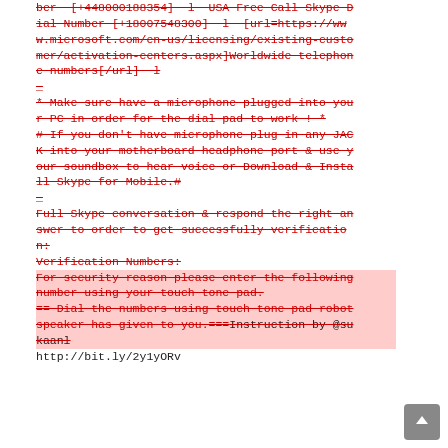ber  [+448000188354]  l  USA Free Call Skype Dial Number [+18007548300]  l  [url=https://www.microsoft.com/en-us/licensing/existing-customer/activation-centers.aspx]Worldwide telephone numbers[/url]  l
_
* Make sure have a microphone plugged into your PC in order for the dial pad to work ! *
# If you don't have microphone plug in any JACK into your motherboard headphone port & use your soundbox to hear voice or Download & Install Skype for Mobile.#
_
Full Skype conversation & respond the right answer to order to get successfully verification:
Verification Numbers:
For security reason please enter the following number using your touch tone pad.
== Dial the numbers using touch tone pad robot speaker has given to you.===Instruction by @sukaanl
http://bit.ly/2y1yORv